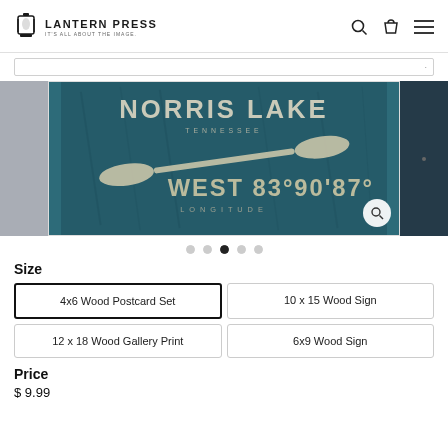LANTERN PRESS | IT'S ALL ABOUT THE IMAGE.
[Figure (photo): Product image of a teal/dark blue wood sign featuring 'NORRIS LAKE TENNESSEE WEST 83°90'87° LONGITUDE' with a canoe paddle graphic. Shown in a carousel with left and right thumbnail panels.]
Size
4x6 Wood Postcard Set (selected)
10 x 15 Wood Sign
12 x 18 Wood Gallery Print
6x9 Wood Sign
Price
$ 9.99